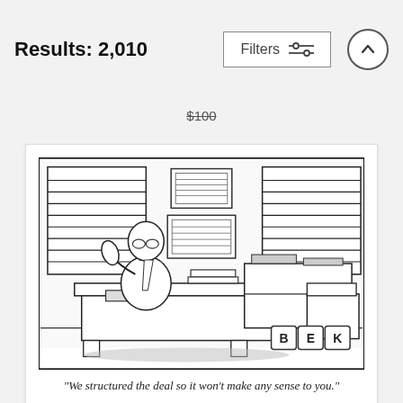Results: 2,010
$100
[Figure (illustration): Black and white New Yorker style cartoon showing a businessman sitting at a large desk talking on the telephone. He is wearing a suit and tie. The office has venetian blinds on the windows in the background, framed pictures on the wall, and a credenza with stacked items behind him. A chair is visible to the right. The artist signature 'BEK' appears in blocks at the bottom right of the cartoon.]
"We structured the deal so it won't make any sense to you."